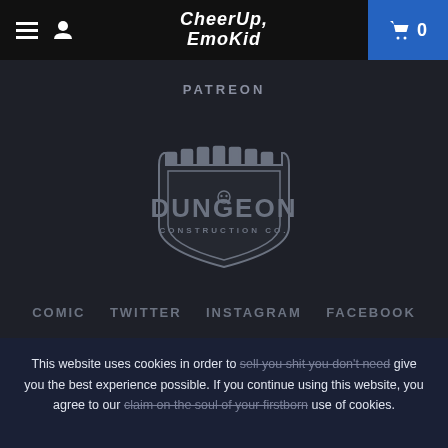CheerUp, EmoKid — navigation bar with hamburger menu, user icon, logo, and cart (0)
PATREON
[Figure (logo): Dungeon Construction Co. logo — a shield/castle-shaped badge in gray outline with the text DUNGEON in large stylized letters and CONSTRUCTION CO. in smaller text below]
COMIC
TWITTER
INSTAGRAM
FACEBOOK
This website uses cookies in order to sell you shit you don't need give you the best experience possible. If you continue using this website, you agree to our claim on the soul of your firstborn use of cookies.